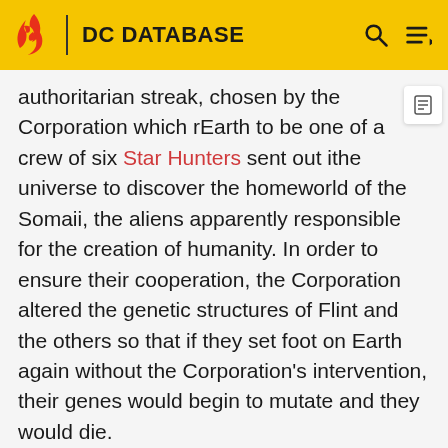DC DATABASE
authoritarian streak, chosen by the Corporation which r... Earth to be one of a crew of six Star Hunters sent out i... the universe to discover the homeworld of the Somaii, the aliens apparently responsible for the creation of humanity. In order to ensure their cooperation, the Corporation altered the genetic structures of Flint and the others so that if they set foot on Earth again without the Corporation's intervention, their genes would begin to mutate and they would die.
Soon after the Star Hunters began their mission, Flint was killed in an explosion, but was resurrected by the Entity, one of the Somaii, which informed him that he and his comrades were being used; there was an endless war...